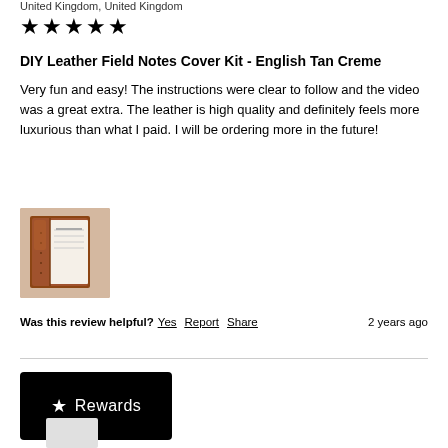United Kingdom, United Kingdom
★★★★★
DIY Leather Field Notes Cover Kit - English Tan Creme
Very fun and easy! The instructions were clear to follow and the video was a great extra. The leather is high quality and definitely feels more luxurious than what I paid. I will be ordering more in the future!
[Figure (photo): Photo of a leather field notes cover with a small notebook inside, shown open on a light surface.]
Was this review helpful? Yes Report Share   2 years ago
★ Rewards